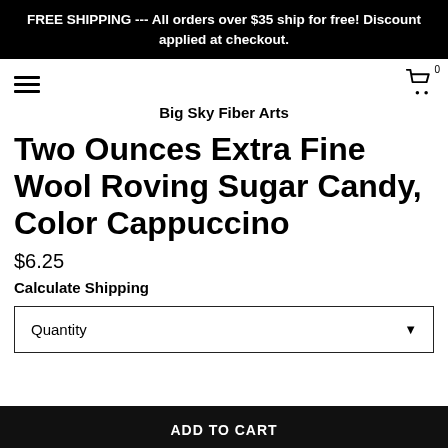FREE SHIPPING --- All orders over $35 ship for free! Discount applied at checkout.
Big Sky Fiber Arts
Two Ounces Extra Fine Wool Roving Sugar Candy, Color Cappuccino
$6.25
Calculate Shipping
Quantity
ADD TO CART